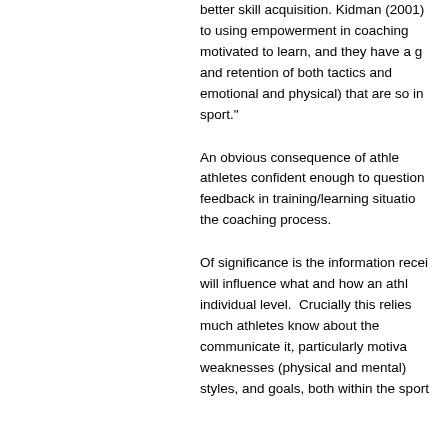better skill acquisition. Kidman (2001) to using empowerment in coaching motivated to learn, and they have a g and retention of both tactics and emotional and physical) that are so in sport."
An obvious consequence of athle athletes confident enough to question feedback in training/learning situatio the coaching process.
Of significance is the information recei will influence what and how an athl individual level.  Crucially this relies much athletes know about the communicate it, particularly motiva weaknesses (physical and mental) styles, and goals, both within the sport